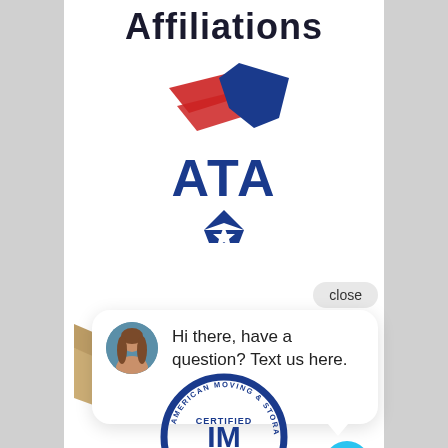Affiliations
[Figure (logo): ATA (American Trucking Associations) logo with red and blue stripes flag design above bold ATA text and a blue downward chevron with star below]
[Figure (screenshot): Chat widget popup showing a close button, avatar of a woman, and the message: Hi there, have a question? Text us here. A cyan chat icon button is visible at the bottom right.]
[Figure (logo): American Moving & Storage Association certified mover logo — circular badge with blue border text and CERTIFIED IM in center]